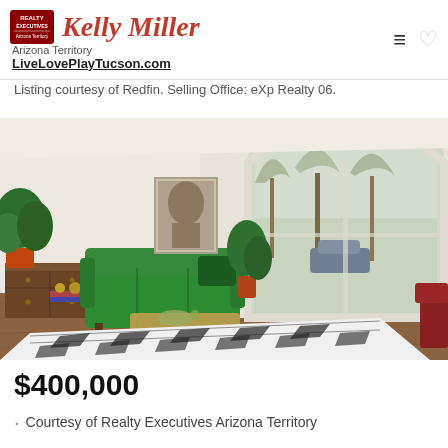Realty Executives | Kelly Miller | Arizona Territory | LiveLovePlayTucson.com
Listing courtesy of Redfin. Selling Office: eXp Realty 06.
[Figure (photo): Interior living room photo showing green sofa, wooden side table with plants, Buddha artwork on wall, large arched window with view of trees outside, black and white patterned rug on hardwood floor.]
$400,000
Courtesy of Realty Executives Arizona Territory